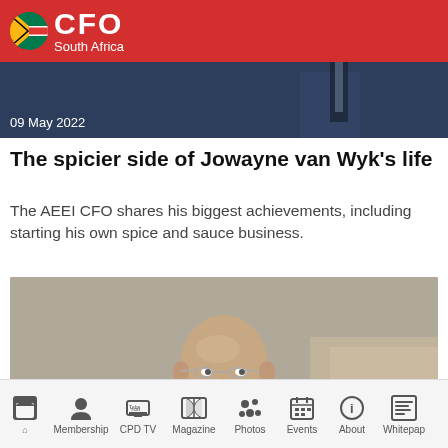CFO South Africa
[Figure (photo): Partial photo of a person at the top, dark background, date overlay '09 May 2022']
The spicier side of Jowayne van Wyk's life
The AEEI CFO shares his biggest achievements, including starting his own spice and sauce business.
[Figure (photo): Photo of a smiling bald man with glasses wearing a dark suit, with date overlay '25 April 2022']
CFO Chad Kenton...
Home | Membership | CPD TV | Magazine | Photos | Events | About | Whitepap...